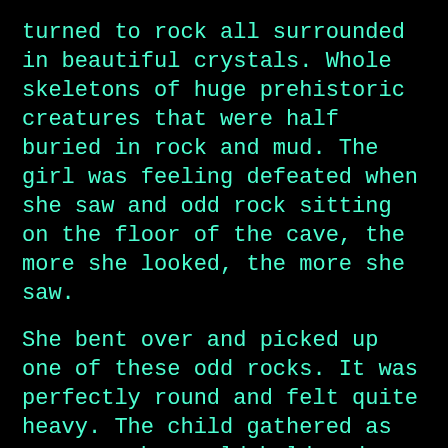turned to rock all surrounded in beautiful crystals. Whole skeletons of huge prehistoric creatures that were half buried in rock and mud. The girl was feeling defeated when she saw and odd rock sitting on the floor of the cave, the more she looked, the more she saw.
She bent over and picked up one of these odd rocks. It was perfectly round and felt quite heavy. The child gathered as many as she could hold and went outside into the sun. “These must be what the prairie dog saw!” exclaimed the child.
The burro looked at the rock and saw nothing special, just a round rock. He kicked at one of the rocks and it broke open.